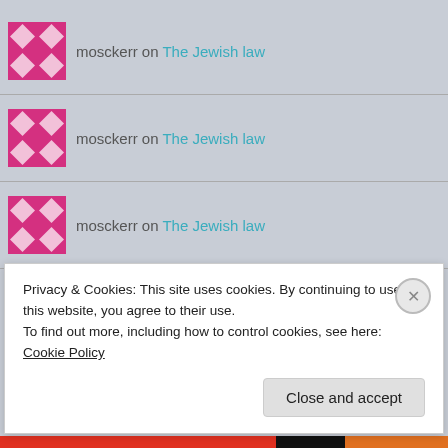[Figure (illustration): Pink/magenta geometric pattern avatar for user mosckerr (first instance)]
mosckerr on The Jewish law
[Figure (illustration): Pink/magenta geometric pattern avatar for user mosckerr (second instance)]
mosckerr on The Jewish law
[Figure (illustration): Pink/magenta geometric pattern avatar for user mosckerr (third instance)]
mosckerr on The Jewish law
Archives
August 2022
Privacy & Cookies: This site uses cookies. By continuing to use this website, you agree to their use.
To find out more, including how to control cookies, see here: Cookie Policy